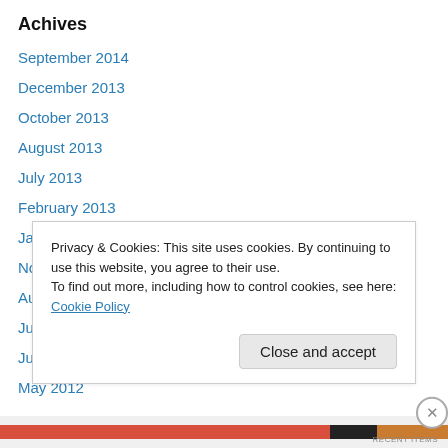Achives
September 2014
December 2013
October 2013
August 2013
July 2013
February 2013
January 2013
November 2012
August 2012
July 2012
June 2012
May 2012
Privacy & Cookies: This site uses cookies. By continuing to use this website, you agree to their use.
To find out more, including how to control cookies, see here: Cookie Policy
Close and accept